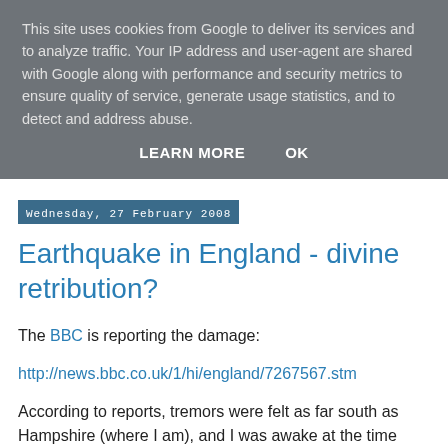This site uses cookies from Google to deliver its services and to analyze traffic. Your IP address and user-agent are shared with Google along with performance and security metrics to ensure quality of service, generate usage statistics, and to detect and address abuse.
LEARN MORE   OK
Wednesday, 27 February 2008
Earthquake in England - divine retribution?
The BBC is reporting the damage:
http://news.bbc.co.uk/1/hi/england/7267567.stm
According to reports, tremors were felt as far south as Hampshire (where I am), and I was awake at the time (about 1 am) but I don't remember anything unusual.
Nevertheless it was the strongest quake for a quarter of a century, at 5.2 on the Richter scale, though that's hardly a